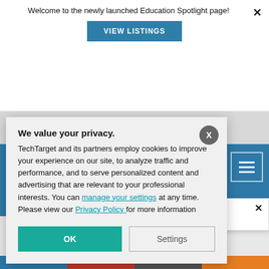Welcome to the newly launched Education Spotlight page!
VIEW LISTINGS
[Figure (screenshot): Cookie consent privacy modal overlay with title 'We value your privacy.' and body text about TechTarget cookies, with OK and Settings buttons]
We value your privacy.
TechTarget and its partners employ cookies to improve your experience on our site, to analyze traffic and performance, and to serve personalized content and advertising that are relevant to your professional interests. You can manage your settings at any time. Please view our Privacy Policy for more information
OK
Settings
SC Members